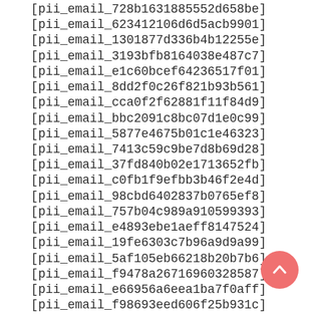[pii_email_728b1631885552d658be]
[pii_email_623412106d6d5acb9901]
[pii_email_1301877d336b4b12255e]
[pii_email_3193bfb8164038e487c7]
[pii_email_e1c60bcef64236517f01]
[pii_email_8dd2f0c26f821b93b561]
[pii_email_cca0f2f62881f11f84d9]
[pii_email_bbc2091c8bc07d1e0c99]
[pii_email_5877e4675b01c1e46323]
[pii_email_7413c59c9be7d8b69d28]
[pii_email_37fd840b02e1713652fb]
[pii_email_c0fb1f9efbb3b46f2e4d]
[pii_email_98cbd6402837b0765ef8]
[pii_email_757b04c989a910599393]
[pii_email_e4893ebe1aeff8147524]
[pii_email_19fe6303c7b96a9d9a99]
[pii_email_5af105eb66218b20b7b6]
[pii_email_f9478a26716960328587]
[pii_email_e66956a6eea1ba7f0aff]
[pii_email_f98693eed606f25b931c]
[pii_email_35a59c8a36721dcc137f]